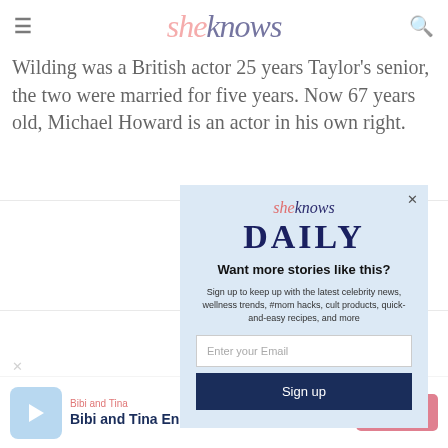sheknows
Wilding was a British actor 25 years Taylor's senior, the two were married for five years. Now 67 years old, Michael Howard is an actor in his own right.
[Figure (screenshot): SheKnows Daily newsletter signup modal on light blue background with email input and Sign up button]
[Figure (screenshot): Bibi and Tina English YouTube advertisement banner at bottom of page]